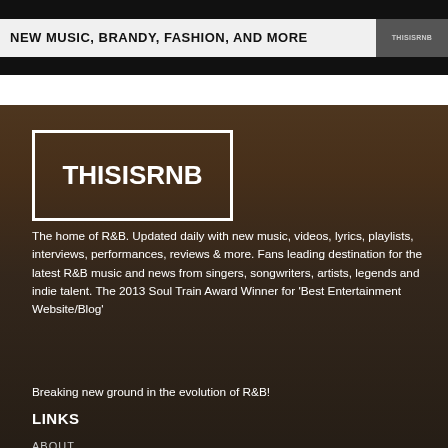[Figure (screenshot): Top dark banner with 'NEW MUSIC, BRANDY, FASHION, AND MORE' text and THISISRNB logo on right]
THISISRNB
The home of R&B.  Updated daily with new music, videos, lyrics, playlists, interviews, performances, reviews & more. Fans leading destination for the latest R&B music and news from singers, songwriters, artists, legends and indie talent. The 2013 Soul Train Award Winner for ‘Best Entertainment Website/Blog’
Breaking new ground in the evolution of R&B!
LINKS
ABOUT